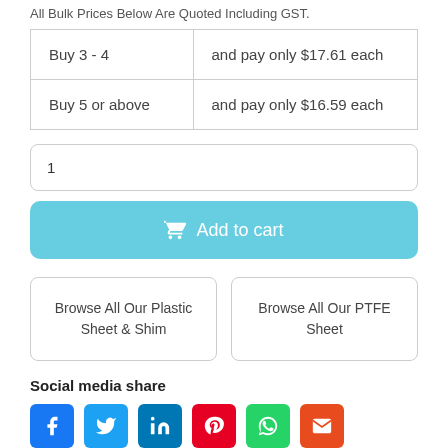All Bulk Prices Below Are Quoted Including GST.
| Buy 3 - 4 | and pay only $17.61 each |
| Buy 5 or above | and pay only $16.59 each |
1
Add to cart
Browse All Our Plastic Sheet & Shim
Browse All Our PTFE Sheet
Social media share
[Figure (other): Social media share icons: Facebook, Twitter, LinkedIn, Pinterest, WhatsApp, Email]